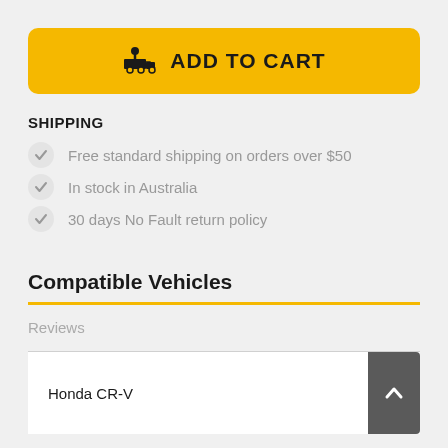ADD TO CART
SHIPPING
Free standard shipping on orders over $50
In stock in Australia
30 days No Fault return policy
Compatible Vehicles
Reviews
Honda CR-V